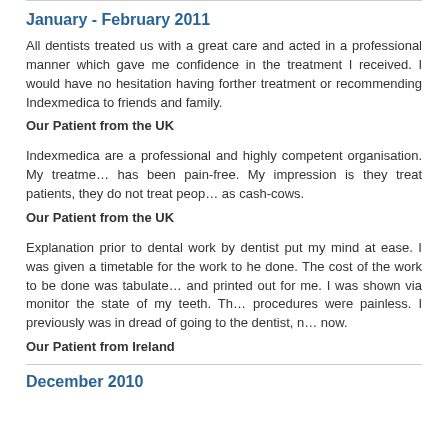January - February 2011
All dentists treated us with a great care and acted in a professional manner which gave me confidence in the treatment I received. I would have no hesitation having forther treatment or recommending Indexmedica to friends and family.
Our Patient from the UK
Indexmedica are a professional and highly competent organisation. My treatment has been pain-free. My impression is they treat patients, they do not treat people as cash-cows.
Our Patient from the UK
Explanation prior to dental work by dentist put my mind at ease. I was given a timetable for the work to he done. The cost of the work to be done was tabulated and printed out for me. I was shown via monitor the state of my teeth. The procedures were painless. I previously was in dread of going to the dentist, not now.
Our Patient from Ireland
December 2010